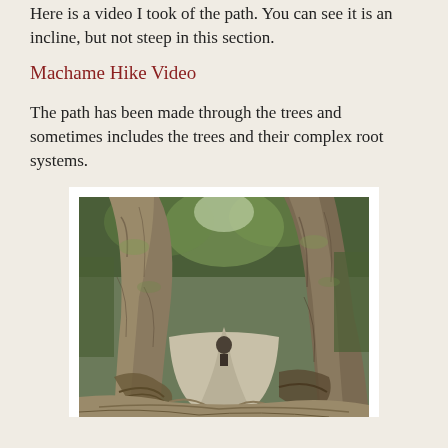Here is a video I took of the path. You can see it is an incline, but not steep in this section.
Machame Hike Video
The path has been made through the trees and sometimes includes the trees and their complex root systems.
[Figure (photo): A forest trail on Machame route showing two large tree trunks framing the path, with complex root systems visible on the ground and dense green forest canopy above.]